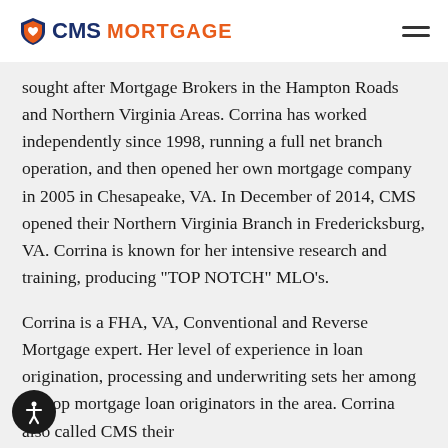CMS MORTGAGE
sought after Mortgage Brokers in the Hampton Roads and Northern Virginia Areas. Corrina has worked independently since 1998, running a full net branch operation, and then opened her own mortgage company in 2005 in Chesapeake, VA. In December of 2014, CMS opened their Northern Virginia Branch in Fredericksburg, VA. Corrina is known for her intensive research and training, producing "TOP NOTCH" MLO's.
Corrina is a FHA, VA, Conventional and Reverse Mortgage expert. Her level of experience in loan origination, processing and underwriting sets her among the top mortgage loan originators in the area. Corrina also called CMS their...